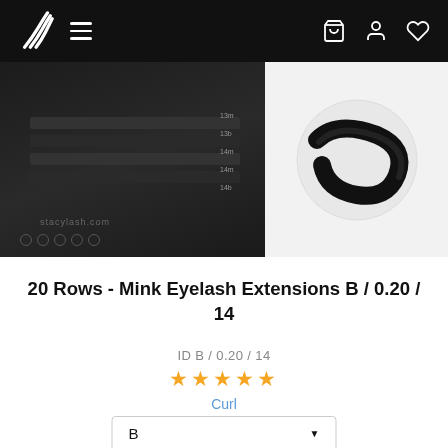Navigation bar with logo, hamburger menu, and icons
[Figure (photo): Product photo of mink eyelash extensions tray on the left and a close-up of the curl on the right]
20 Rows - Mink Eyelash Extensions B / 0.20 / 14
ID B / 0.20 / 14
★★★★★
Curl
B (dropdown)